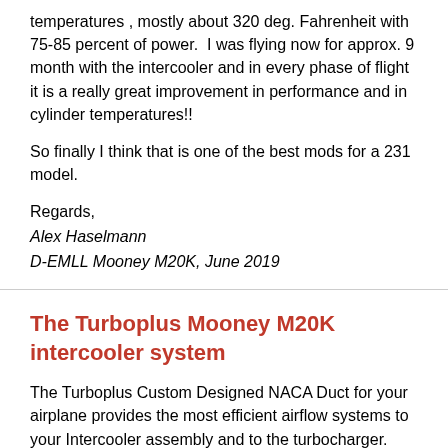temperatures , mostly about 320 deg. Fahrenheit with 75-85 percent of power.  I was flying now for approx. 9 month with the intercooler and in every phase of flight it is a really great improvement in performance and in cylinder temperatures!!
So finally I think that is one of the best mods for a 231 model.
Regards,
Alex Haselmann
D-EMLL Mooney M20K, June 2019
The Turboplus Mooney M20K intercooler system
The Turboplus Custom Designed NACA Duct for your airplane provides the most efficient airflow systems to your Intercooler assembly and to the turbocharger. The